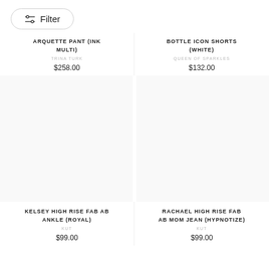Filter
ARQUETTE PANT (INK MULTI)
TRINA TURK
$258.00
BOTTLE ICON SHORTS (WHITE)
QUEEN OF SPARKLES
$132.00
KELSEY HIGH RISE FAB AB ANKLE (ROYAL)
KUT
$99.00
RACHAEL HIGH RISE FAB AB MOM JEAN (HYPNOTIZE)
KUT
$99.00